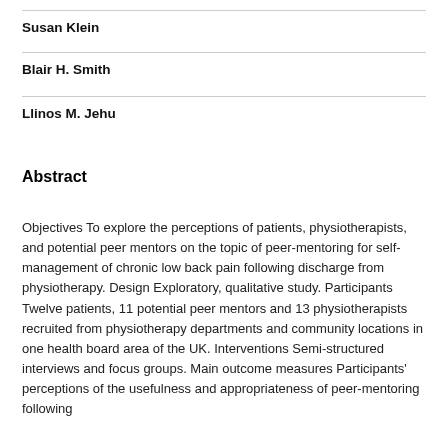Susan Klein
Blair H. Smith
Llinos M. Jehu
Abstract
Objectives To explore the perceptions of patients, physiotherapists, and potential peer mentors on the topic of peer-mentoring for self-management of chronic low back pain following discharge from physiotherapy. Design Exploratory, qualitative study. Participants Twelve patients, 11 potential peer mentors and 13 physiotherapists recruited from physiotherapy departments and community locations in one health board area of the UK. Interventions Semi-structured interviews and focus groups. Main outcome measures Participants' perceptions of the usefulness and appropriateness of peer-mentoring following